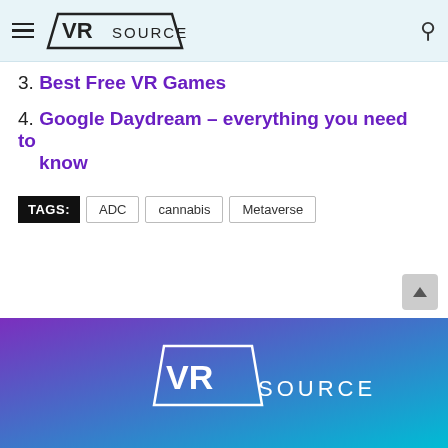VR Source
3. Best Free VR Games
4. Google Daydream – everything you need to know
TAGS: ADC  cannabis  Metaverse
[Figure (logo): VR Source logo white on purple-to-teal gradient footer background]